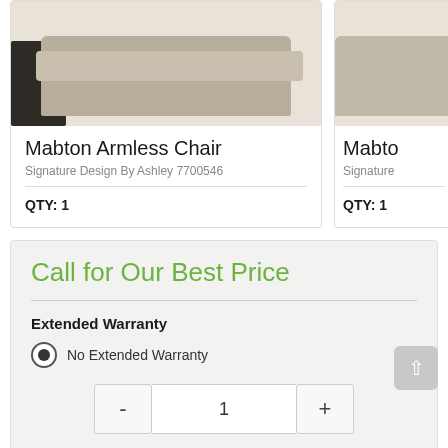[Figure (photo): Product image of Mabton Armless Chair (left card), beige/tan upholstered chair with dark side panel]
Mabton Armless Chair
Signature Design By Ashley 7700546
QTY: 1
[Figure (photo): Partial product image of second Mabton item (right card, cropped)]
Mabto
Signature
QTY: 1
Call for Our Best Price
Extended Warranty
No Extended Warranty
1
Request Quote